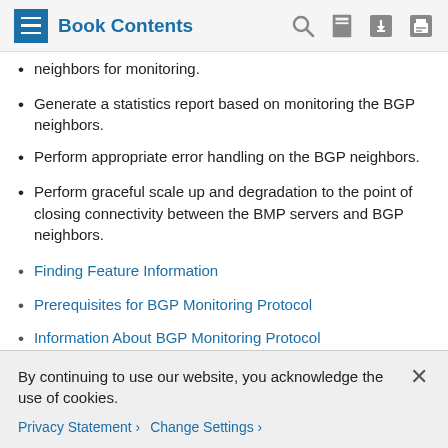Book Contents
neighbors for monitoring.
Generate a statistics report based on monitoring the BGP neighbors.
Perform appropriate error handling on the BGP neighbors.
Perform graceful scale up and degradation to the point of closing connectivity between the BMP servers and BGP neighbors.
Finding Feature Information
Prerequisites for BGP Monitoring Protocol
Information About BGP Monitoring Protocol
How to Configure BGP Monitoring Protocol
Verifying BGP Monitoring Protocol
By continuing to use our website, you acknowledge the use of cookies.
Privacy Statement > Change Settings >